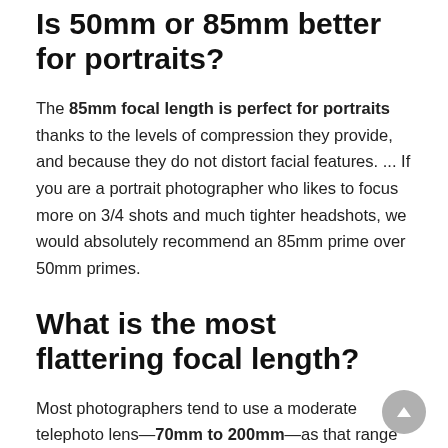Is 50mm or 85mm better for portraits?
The 85mm focal length is perfect for portraits thanks to the levels of compression they provide, and because they do not distort facial features. ... If you are a portrait photographer who likes to focus more on 3/4 shots and much tighter headshots, we would absolutely recommend an 85mm prime over 50mm primes.
What is the most flattering focal length?
Most photographers tend to use a moderate telephoto lens—70mm to 200mm—as that range generally produces the most flattering angle of view for most